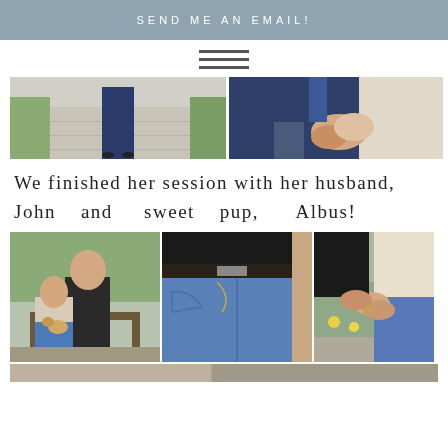SEND ME AN EMAIL!
[Figure (other): Hamburger menu icon with three horizontal lines]
[Figure (photo): Two photos side by side: left shows a woman in a navy dress from below on a walkway with green grass; right shows a couple holding hands, close-up of hands]
We finished her session with her husband, John and sweet pup, Albus!
[Figure (photo): Three photos side by side: left shows a couple with a small dog on a park bench; middle shows close-up of couple holding hands with jeans and belt; right shows couple holding hands outdoors with yellow flowers in background]
[Figure (photo): Partial photo strip at the bottom of the page, cut off]